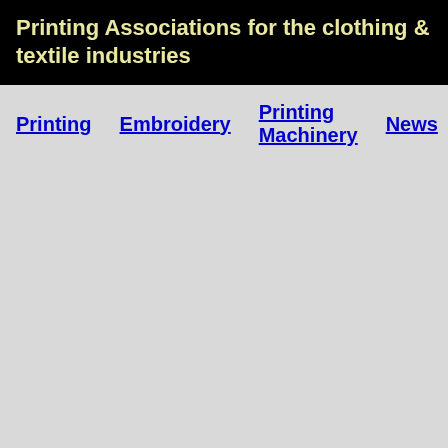Printing Associations for the clothing & textile industries
Printing
Embroidery
Printing Machinery
News